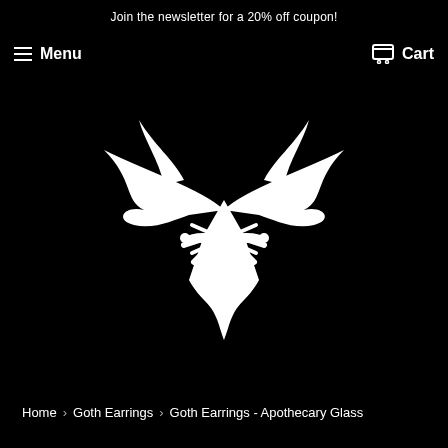Join the newsletter for a 20% off coupon!
Menu  Cart
[Figure (logo): Gothic bat-winged pliers logo in white on black background]
Home › Goth Earrings › Goth Earrings - Apothecary Glass